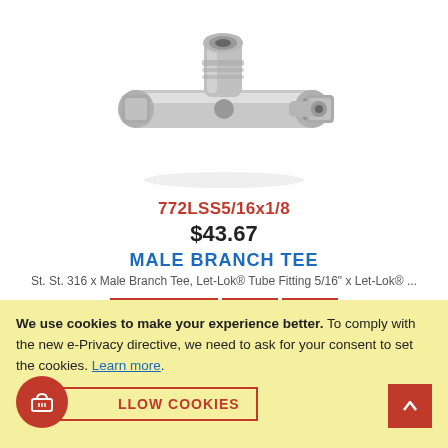[Figure (photo): Chrome/steel male branch tee tube fitting, metallic, top portion of product image visible]
772LSS5/16x1/8
$43.67
MALE BRANCH TEE
St. St. 316 x Male Branch Tee, Let-Lok® Tube Fitting 5/16" x Let-Lok® ...
We use cookies to make your experience better. To comply with the new e-Privacy directive, we need to ask for your consent to set the cookies. Learn more.
ALLOW COOKIES